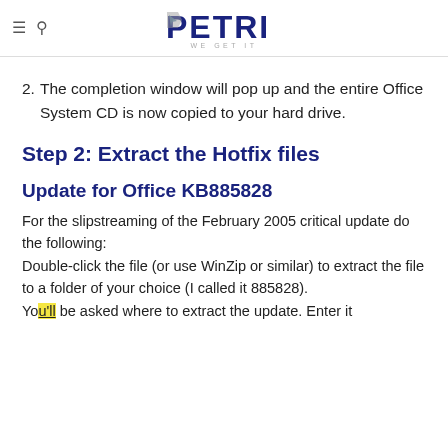PETRI — WE GET IT
2. The completion window will pop up and the entire Office System CD is now copied to your hard drive.
Step 2: Extract the Hotfix files
Update for Office KB885828
For the slipstreaming of the February 2005 critical update do the following:
Double-click the file (or use WinZip or similar) to extract the file to a folder of your choice (I called it 885828).
You'll be asked where to extract the update. Enter it